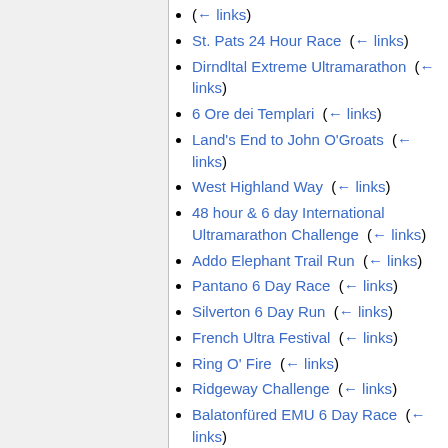(← links)
St. Pats 24 Hour Race  (← links)
Dirndltal Extreme Ultramarathon  (← links)
6 Ore dei Templari  (← links)
Land's End to John O'Groats  (← links)
West Highland Way  (← links)
48 hour & 6 day International Ultramarathon Challenge  (← links)
Addo Elephant Trail Run  (← links)
Pantano 6 Day Race  (← links)
Silverton 6 Day Run  (← links)
French Ultra Festival  (← links)
Ring O' Fire  (← links)
Ridgeway Challenge  (← links)
Balatonfüred EMU 6 Day Race  (← links)
Glenmore 24 Hour Trail Race  (← links)